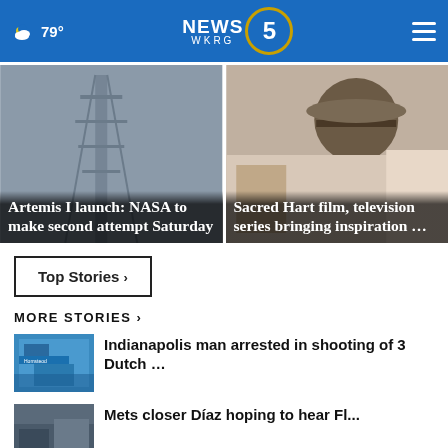NEWS 5 WKRG | 79° | weather icon
[Figure (photo): Artemis I rocket launch tower in foggy conditions with overlay text: Artemis I launch: NASA to make second attempt Saturday]
[Figure (photo): People sitting at outdoor cafe with hats, overlay text: Sacred Hart film, television series bringing inspiration ...]
Top Stories ›
MORE STORIES ›
[Figure (photo): Blue storefront building thumbnail for Indianapolis shooting story]
Indianapolis man arrested in shooting of 3 Dutch …
[Figure (photo): City street scene thumbnail for Mets closer Diaz story]
Mets closer Díaz hoping to hear Fl...